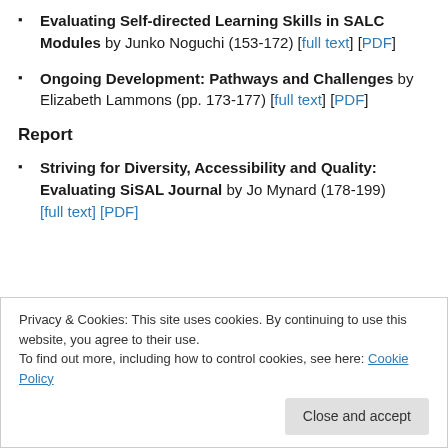Evaluating Self-directed Learning Skills in SALC Modules by Junko Noguchi (153-172) [full text] [PDF]
Ongoing Development: Pathways and Challenges by Elizabeth Lammons (pp. 173-177) [full text] [PDF]
Report
Striving for Diversity, Accessibility and Quality: Evaluating SiSAL Journal by Jo Mynard (178-199) [full text] [PDF]
Privacy & Cookies: This site uses cookies. By continuing to use this website, you agree to their use.
To find out more, including how to control cookies, see here: Cookie Policy
Close and accept